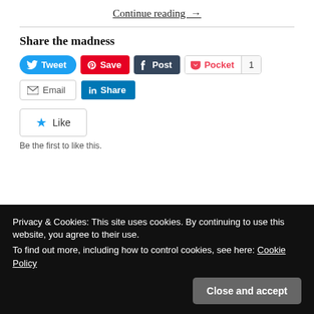Continue reading →
Share the madness
[Figure (screenshot): Social sharing buttons: Tweet, Save (Pinterest), Post (Tumblr), Pocket (count 1), Email, LinkedIn Share]
[Figure (screenshot): Like button with star icon and text 'Be the first to like this.']
Be the first to like this.
Privacy & Cookies: This site uses cookies. By continuing to use this website, you agree to their use.
To find out more, including how to control cookies, see here: Cookie Policy
Close and accept